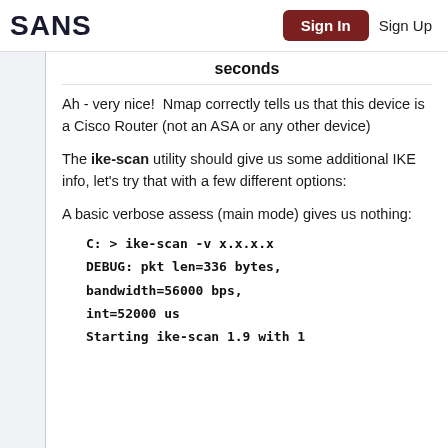SANS  Sign In  Sign Up
seconds
Ah - very nice!  Nmap correctly tells us that this device is a Cisco Router (not an ASA or any other device)
The ike-scan utility should give us some additional IKE info, let's try that with a few different options:
A basic verbose assess (main mode) gives us nothing:
C: > ike-scan -v x.x.x.x
DEBUG: pkt len=336 bytes, bandwidth=56000 bps, int=52000 us
Starting ike-scan 1.9 with 1